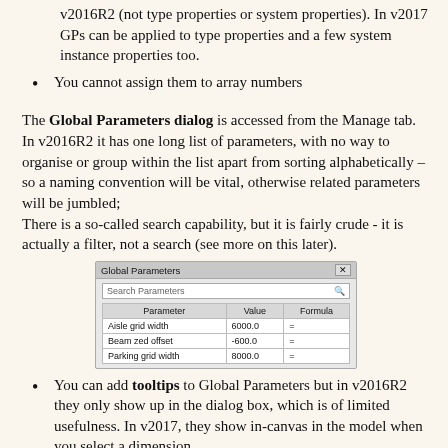v2016R2 (not type properties or system properties). In v2017 GPs can be applied to type properties and a few system instance properties too.
You cannot assign them to array numbers
The Global Parameters dialog is accessed from the Manage tab. In v2016R2 it has one long list of parameters, with no way to organise or group within the list apart from sorting alphabetically – so a naming convention will be vital, otherwise related parameters will be jumbled;
There is a so-called search capability, but it is fairly crude - it is actually a filter, not a search (see more on this later).
[Figure (screenshot): Screenshot of the Global Parameters dialog box in Revit, showing a search bar labeled 'Search Parameters' and a table with columns Parameter, Value, Formula. Rows: Aisle grid width 6000.0 =, Beam zed offset -600.0 =, Parking grid width 8000.0 =]
You can add tooltips to Global Parameters but in v2016R2 they only show up in the dialog box, which is of limited usefulness. In v2017, they show in-canvas in the model when you select a dimension.